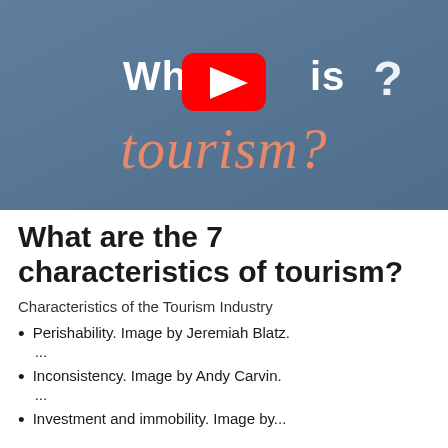[Figure (screenshot): YouTube video thumbnail showing 'What is tourism?' text on a blue-grey background with a YouTube play button overlay. 'What is' in white bold text, 'tourism?' in coral/salmon cursive script, with a question mark.]
What are the 7 characteristics of tourism?
Characteristics of the Tourism Industry
Perishability. Image by Jeremiah Blatz. ...
Inconsistency. Image by Andy Carvin. ...
Investment and immobility. Image by...